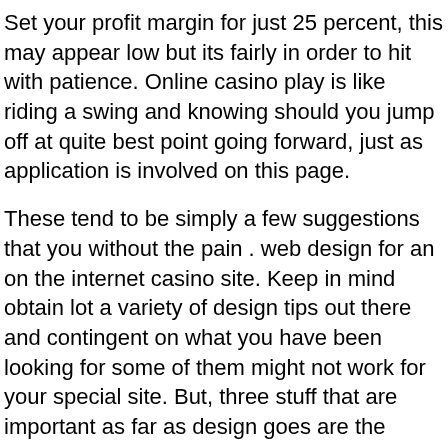Set your profit margin for just 25 percent, this may appear low but its fairly in order to hit with patience. Online casino play is like riding a swing and knowing should you jump off at quite best point going forward, just as application is involved on this page.
These tend to be simply a few suggestions that you without the pain . web design for an on the internet casino site. Keep in mind obtain lot a variety of design tips out there and contingent on what you have been looking for some of them might not work for your special site. But, three stuff that are important as far as design goes are the guidelines outlined their. Follow these and totally cut off . sure your own casino site will for you to gain attraction to its users.